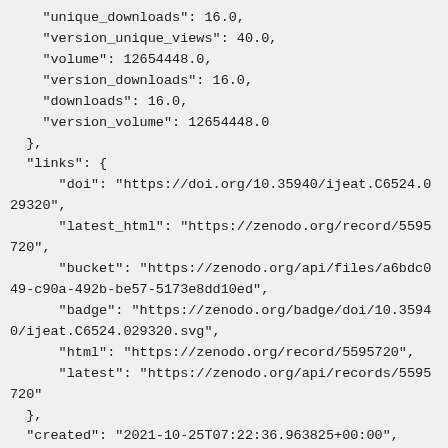"unique_downloads": 16.0,
    "version_unique_views": 40.0,
    "volume": 12654448.0,
    "version_downloads": 16.0,
    "downloads": 16.0,
    "version_volume": 12654448.0
  },
  "links": {
      "doi": "https://doi.org/10.35940/ijeat.C6524.029320",
      "latest_html": "https://zenodo.org/record/5595720",
      "bucket": "https://zenodo.org/api/files/a6bdc049-c90a-492b-be57-5173e8dd10ed",
      "badge": "https://zenodo.org/badge/doi/10.35940/ijeat.C6524.029320.svg",
      "html": "https://zenodo.org/record/5595720",
      "latest": "https://zenodo.org/api/records/5595720"
  },
  "created": "2021-10-25T07:22:36.963825+00:00",
  "updated": "2021-10-26T13:48:43.987152+00:00",
  "conceptrecid": "5595719",
  "revision": 2,